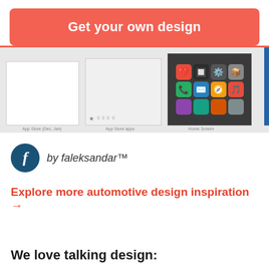Get your own design
[Figure (screenshot): Screenshot of app store or iOS home screen interface showing white screens and iOS app icon grid]
by faleksandar™
Explore more automotive design inspiration →
We love talking design: